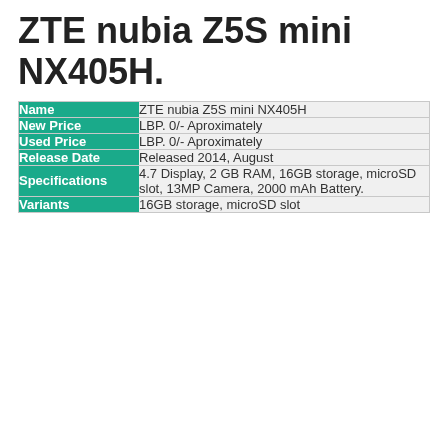ZTE nubia Z5S mini NX405H.
| Field | Value |
| --- | --- |
| Name | ZTE nubia Z5S mini NX405H |
| New Price | LBP. 0/- Aproximately |
| Used Price | LBP. 0/- Aproximately |
| Release Date | Released 2014, August |
| Specifications | 4.7 Display, 2 GB RAM, 16GB storage, microSD slot, 13MP Camera, 2000 mAh Battery. |
| Variants | 16GB storage, microSD slot |